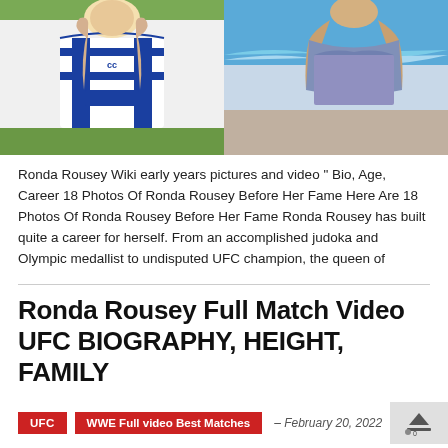[Figure (photo): Two photos side by side: left shows a woman in a blue and white Canterbury sports jersey, right shows a woman in a patterned swimsuit viewed from the back near the ocean]
Ronda Rousey Wiki early years pictures and video " Bio, Age, Career 18 Photos Of Ronda Rousey Before Her Fame Here Are 18 Photos Of Ronda Rousey Before Her Fame Ronda Rousey has built quite a career for herself. From an accomplished judoka and Olympic medallist to undisputed UFC champion, the queen of
Ronda Rousey Full Match Video UFC BIOGRAPHY, HEIGHT, FAMILY
UFC
WWE Full video Best Matches
– February 20, 2022